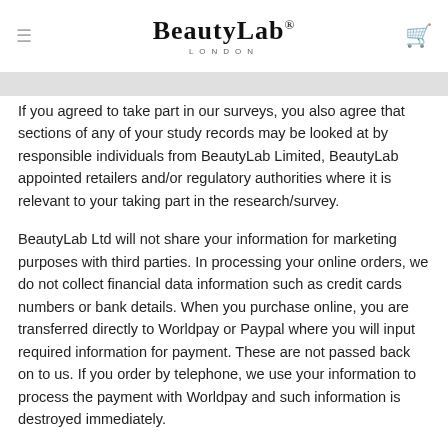BeautyLab LONDON
If you agreed to take part in our surveys, you also agree that sections of any of your study records may be looked at by responsible individuals from BeautyLab Limited, BeautyLab appointed retailers and/or regulatory authorities where it is relevant to your taking part in the research/survey.
BeautyLab Ltd will not share your information for marketing purposes with third parties. In processing your online orders, we do not collect financial data information such as credit cards numbers or bank details. When you purchase online, you are transferred directly to Worldpay or Paypal where you will input required information for payment. These are not passed back on to us. If you order by telephone, we use your information to process the payment with Worldpay and such information is destroyed immediately.